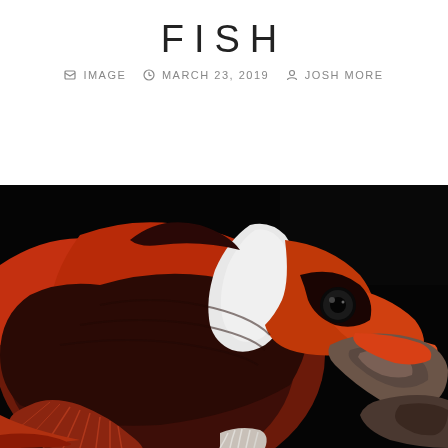FISH
IMAGE   MARCH 23, 2019   JOSH MORE
[Figure (photo): Close-up underwater photograph of a dark red/maroon clownfish with a white vertical stripe behind its head, set against a black background with coral/rock visible on the right side.]